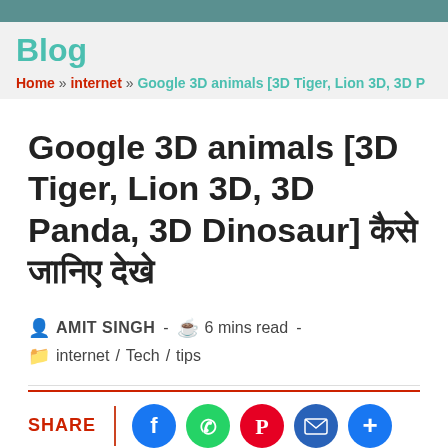Blog
Home » internet » Google 3D animals [3D Tiger, Lion 3D, 3D P…
Google 3D animals [3D Tiger, Lion 3D, 3D Panda, 3D Dinosaur] कैसे देखे जानिए
AMIT SINGH - 6 mins read - internet / Tech / tips
SHARE